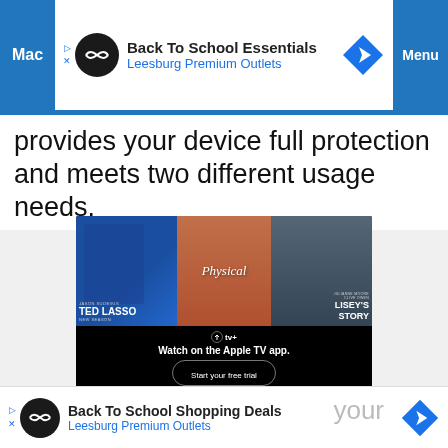[Figure (infographic): Top advertisement banner: Back To School Essentials - Leesburg Premium Outlets, with logo, navigation arrow icon, and browser chrome showing 'Mac' and 'Menu' labels in blue]
provides your device full protection and meets two different usage needs.
[Figure (screenshot): Apple TV+ advertisement showing Ted Lasso, Physical, and Lisey's Story show posters with text 'Watch on the Apple TV app.' and 'Start your free trial' button. Fine print: 'New subscribers only. $4.99/mo after free trial. Plan auto renews until canceled. Terms apply.']
Also so there your
[Figure (infographic): Bottom advertisement banner: Back To School Shopping Deals - Leesburg Premium Outlets, with logo and navigation arrow icon]